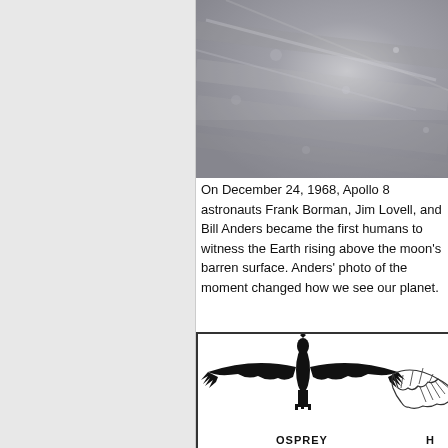[Figure (photo): Photograph of the moon's barren, cratered surface taken from Apollo 8, showing grey rocky terrain with an ethereal quality]
On December 24, 1968, Apollo 8 astronauts Frank Borman, Jim Lovell, and Bill Anders became the first humans to witness the Earth rising above the moon's barren surface. Anders' photo of the moment changed how we see our planet.
[Figure (illustration): Black and white illustration showing an OSPREY bird silhouette with wings spread wide, shown from above in flight. To the right is a partial illustration of another bird labeled H (presumably HAWK), showing wing feather detail in outline style.]